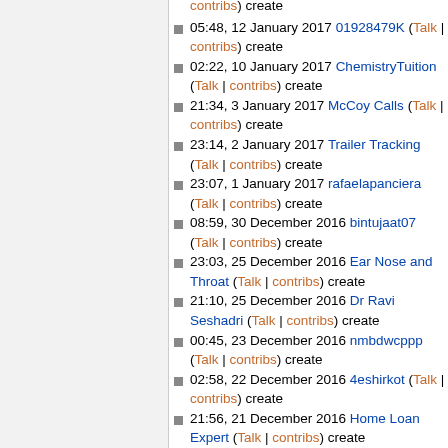contribs) create
05:48, 12 January 2017 01928479K (Talk | contribs) create
02:22, 10 January 2017 ChemistryTuition (Talk | contribs) create
21:34, 3 January 2017 McCoy Calls (Talk | contribs) create
23:14, 2 January 2017 Trailer Tracking (Talk | contribs) create
23:07, 1 January 2017 rafaelapanciera (Talk | contribs) create
08:59, 30 December 2016 bintujaat07 (Talk | contribs) create
23:03, 25 December 2016 Ear Nose and Throat (Talk | contribs) create
21:10, 25 December 2016 Dr Ravi Seshadri (Talk | contribs) create
00:45, 23 December 2016 nmbdwcppp (Talk | contribs) create
02:58, 22 December 2016 4eshirkot (Talk | contribs) create
21:56, 21 December 2016 Home Loan Expert (Talk | contribs) create